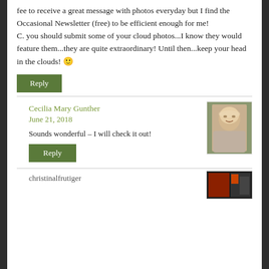fee to receive a great message with photos everyday but I find the Occasional Newsletter (free) to be efficient enough for me!
C. you should submit some of your cloud photos...I know they would feature them...they are quite extraordinary! Until then...keep your head in the clouds! 🙂
Reply
Cecilia Mary Gunther
June 21, 2018
[Figure (photo): Portrait photo of a blonde woman smiling]
Sounds wonderful – I will check it out!
Reply
christinalfrutiger